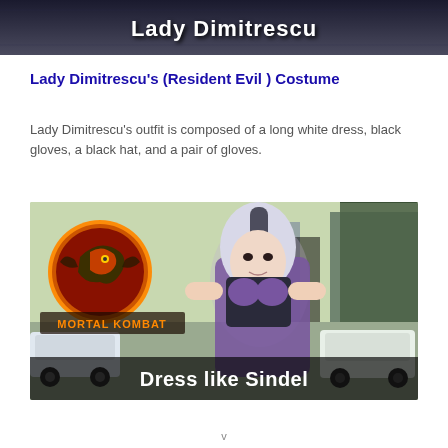[Figure (photo): Dark banner/header image with white bold text reading 'Lady Dimitrescu' on a dark background]
Lady Dimitrescu's (Resident Evil ) Costume
Lady Dimitrescu's outfit is composed of a long white dress, black gloves, a black hat, and a pair of gloves.
[Figure (photo): Cosplay photo of a woman dressed as Sindel from Mortal Kombat, with white hair and purple outfit, outdoors. Mortal Kombat logo visible in upper left. Text overlay at bottom reads 'Dress like Sindel']
v